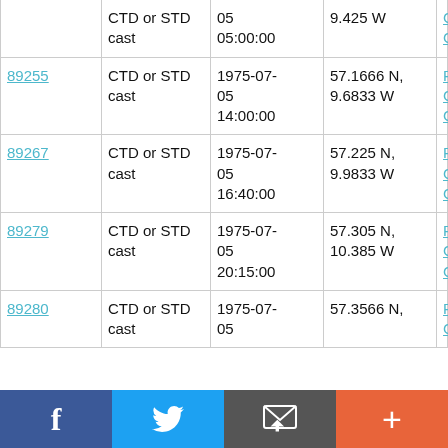| ID | Type | Date/Time | Position | Cruise |
| --- | --- | --- | --- | --- |
|  | CTD or STD cast | 1975-07-05 05:00:00 | 9.425 W | RRS Challenger CH10A/75 |
| 89255 | CTD or STD cast | 1975-07-05 14:00:00 | 57.1666 N, 9.6833 W | RRS Challenger CH10A/75 |
| 89267 | CTD or STD cast | 1975-07-05 16:40:00 | 57.225 N, 9.9833 W | RRS Challenger CH10A/75 |
| 89279 | CTD or STD cast | 1975-07-05 20:15:00 | 57.305 N, 10.385 W | RRS Challenger CH10A/75 |
| 89280 | CTD or STD cast | 1975-07-05 | 57.3566 N, | RRS Challenger |
f  Twitter  Email  +